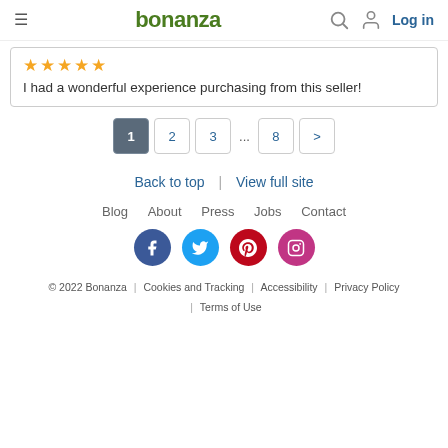bonanza | Log in
I had a wonderful experience purchasing from this seller!
1 2 3 ... 8 >
Back to top | View full site
Blog About Press Jobs Contact
[Figure (infographic): Social media icons: Facebook, Twitter, Pinterest, Instagram]
© 2022 Bonanza | Cookies and Tracking | Accessibility | Privacy Policy | Terms of Use